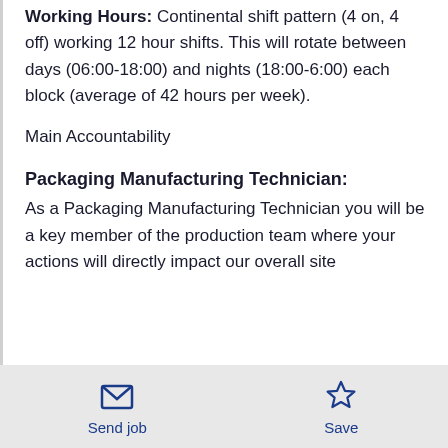Working Hours: Continental shift pattern (4 on, 4 off) working 12 hour shifts. This will rotate between days (06:00-18:00) and nights (18:00-6:00) each block (average of 42 hours per week).
Main Accountability
Packaging Manufacturing Technician: As a Packaging Manufacturing Technician you will be a key member of the production team where your actions will directly impact our overall site
Send job | Save